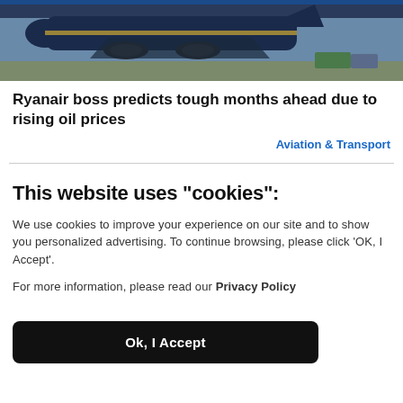[Figure (photo): Photograph of a Ryanair airplane on the tarmac, showing the nose and engines of the aircraft with airport ground equipment visible in the background. Blue and white color scheme.]
Ryanair boss predicts tough months ahead due to rising oil prices
Aviation & Transport
This website uses "cookies":
We use cookies to improve your experience on our site and to show you personalized advertising. To continue browsing, please click ‘OK, I Accept’.
For more information, please read our Privacy Policy
Ok, I Accept